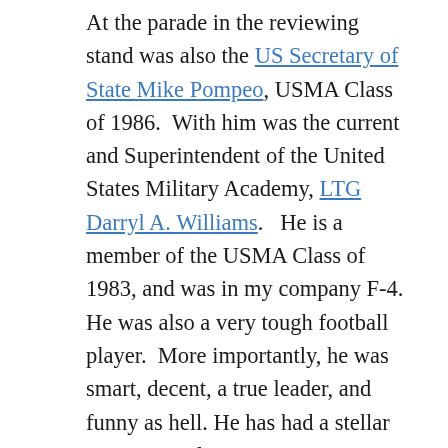At the parade in the reviewing stand was also the US Secretary of State Mike Pompeo, USMA Class of 1986.  With him was the current and Superintendent of the United States Military Academy, LTG Darryl A. Williams.   He is a member of the USMA Class of 1983, and was in my company F-4.  He was also a very tough football player.  More importantly, he was smart, decent, a true leader, and funny as hell.  He has had a stellar career.  My first semester Firstie (senior) year (1983),  he was assigned to my platoon as he was a December grad – so I was his last platoon leader – and the late Mike Wooley (from above) was with me as roommate and platoon sergeant.  It is very gratifying to see him as Superintendent developing new